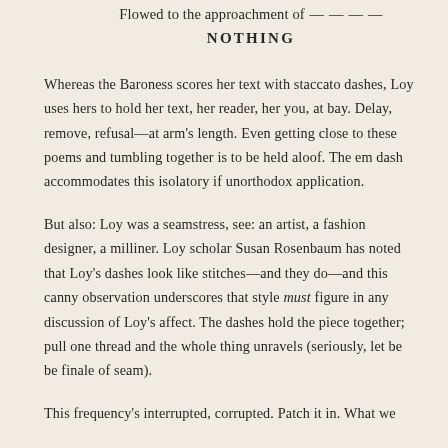Flowed to the approachment of — — — —
NOTHING
Whereas the Baroness scores her text with staccato dashes, Loy uses hers to hold her text, her reader, her you, at bay. Delay, remove, refusal—at arm's length. Even getting close to these poems and tumbling together is to be held aloof. The em dash accommodates this isolatory if unorthodox application.
But also: Loy was a seamstress, see: an artist, a fashion designer, a milliner. Loy scholar Susan Rosenbaum has noted that Loy's dashes look like stitches—and they do—and this canny observation underscores that style must figure in any discussion of Loy's affect. The dashes hold the piece together; pull one thread and the whole thing unravels (seriously, let be be finale of seam).
This frequency's interrupted, corrupted. Patch it in. What we